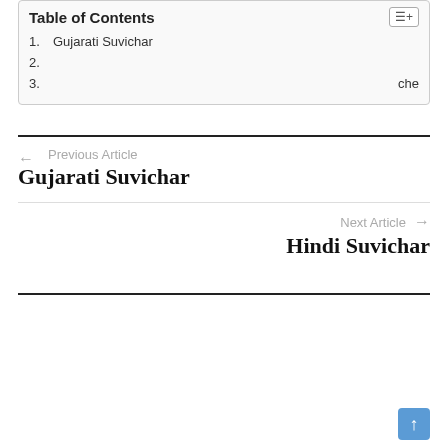Table of Contents
1. Gujarati Suvichar
2.
3.                                          che
← Previous Article
Gujarati Suvichar
Next Article →
Hindi Suvichar